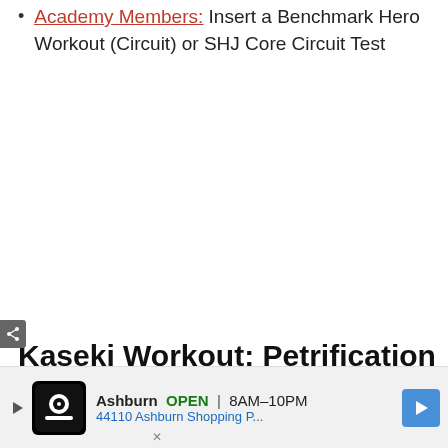Academy Members: Insert a Benchmark Hero Workout (Circuit) or SHJ Core Circuit Test
Kaseki Workout: Petrification
[Figure (screenshot): Advertisement banner for a local business (Ashburn) showing OPEN 8AM-10PM, 44110 Ashburn Shopping P...]